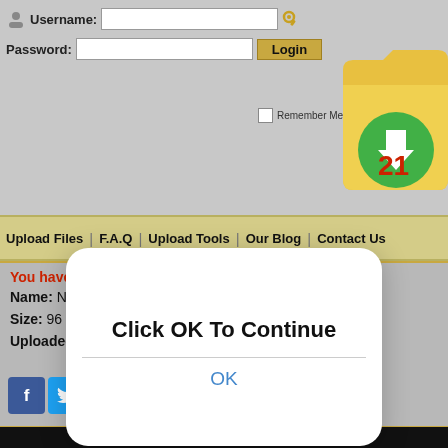[Figure (screenshot): Website screenshot showing login form with Username and Password fields, login button, Remember Me checkbox, and a file download site logo (folder with zip icon)]
Username:
Password:
Remember Me | Forgot Password?
Upload Files | F.A.Q | Upload Tools | Our Blog | Contact Us
[Figure (screenshot): Modal dialog overlay with text 'Click OK To Continue' and an OK button]
You have requested the file:
Name: NanaTai_BD_06_-_[480p].mp4
Size: 96 MB
Uploaded: 11-03-2021 12:11
[Figure (other): Social sharing icons: Facebook, Twitter, Pinterest, Pocket, Reddit, Email, More]
[Figure (screenshot): Dark video player area at bottom of page]